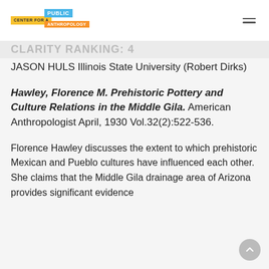CENTER FOR A PUBLIC ANTHROPOLOGY
CLARITY RANKING: 4
JASON HULS Illinois State University (Robert Dirks)
Hawley, Florence M. Prehistoric Pottery and Culture Relations in the Middle Gila. American Anthropologist April, 1930 Vol.32(2):522-536.
Florence Hawley discusses the extent to which prehistoric Mexican and Pueblo cultures have influenced each other. She claims that the Middle Gila drainage area of Arizona provides significant evidence